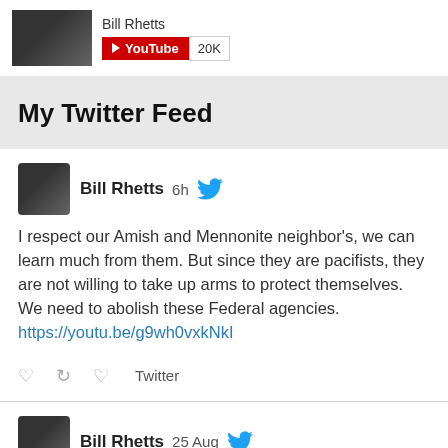[Figure (screenshot): YouTube widget showing Bill Rhetts channel thumbnail with YouTube badge and 20K count]
My Twitter Feed
[Figure (screenshot): Tweet by Bill Rhetts, 6h ago: I respect our Amish and Mennonite neighbor's, we can learn much from them. But since they are pacifists, they are not willing to take up arms to protect themselves. We need to abolish these Federal agencies. https://youtu.be/g9wh0vxkNkI]
[Figure (screenshot): Tweet by Bill Rhetts, 25 Aug: What kind of "church" says this? Ashamedly while aiding & abetting the #MeToo movement.]